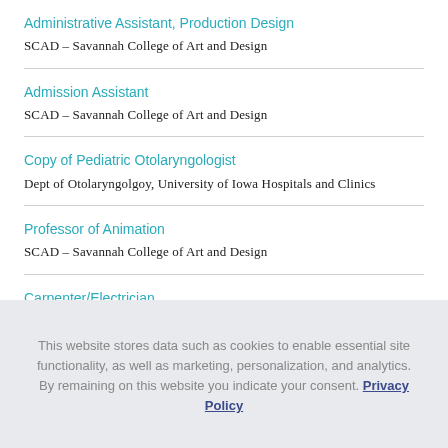Administrative Assistant, Production Design
SCAD – Savannah College of Art and Design
Admission Assistant
SCAD – Savannah College of Art and Design
Copy of Pediatric Otolaryngologist
Dept of Otolaryngolgoy, University of Iowa Hospitals and Clinics
Professor of Animation
SCAD – Savannah College of Art and Design
Carpenter/Electrician
SCAD – Savannah College of Art and Design
This website stores data such as cookies to enable essential site functionality, as well as marketing, personalization, and analytics. By remaining on this website you indicate your consent. Privacy Policy